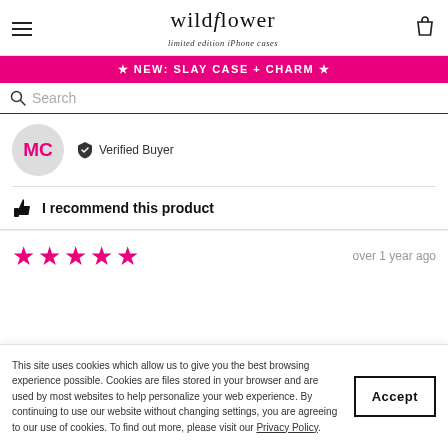wildflower limited edition iPhone cases
★ NEW: SLAY CASE + CHARM ★
Search
MC — Verified Buyer
I recommend this product
over 1 year ago
This site uses cookies which allow us to give you the best browsing experience possible. Cookies are files stored in your browser and are used by most websites to help personalize your web experience. By continuing to use our website without changing settings, you are agreeing to our use of cookies. To find out more, please visit our Privacy Policy.
Accept